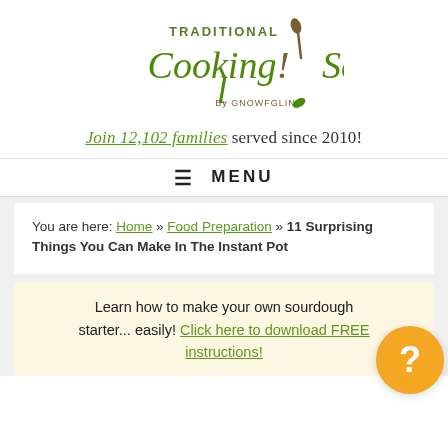[Figure (logo): Traditional Cooking School by GNOWFGLINS logo with green script text and spoon icon]
Join 12,102 families served since 2010!
≡  MENU
You are here: Home » Food Preparation » 11 Surprising Things You Can Make In The Instant Pot
Learn how to make your own sourdough starter... easily! Click here to download FREE instructions!